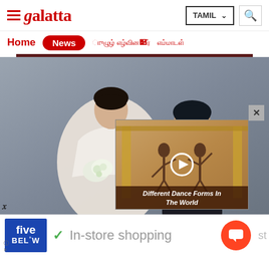≡ galatta  TAMIL  🔍
Home  News  [Tamil nav links]
[Figure (photo): Korean couple in wedding attire — woman in white strapless gown holding flowers, man in black tuxedo with bow tie, gray studio background. Overlaid video thumbnail showing ballet dancers with caption 'Different Dance Forms In The World']
[Figure (photo): Advertisement banner with Five Below logo (blue background), green checkmark, text 'In-store shopping', orange chat button, and partial text 'st']